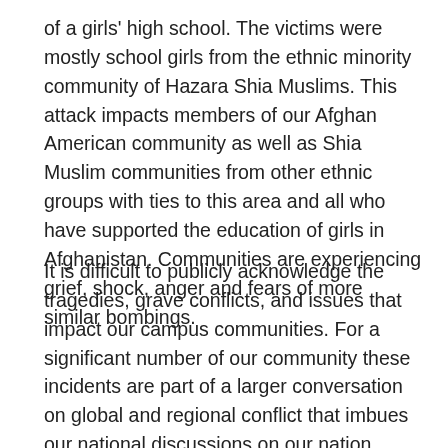of a girls' high school. The victims were mostly school girls from the ethnic minority community of Hazara Shia Muslims. This attack impacts members of our Afghan American community as well as Shia Muslim communities from other ethnic groups with ties to this area and all who have supported the education of girls in Afghanistan. Communities are experiencing grief, shock, anger and fears of more similar bombings.
It is difficult to publicly acknowledge the tragedies, grave conflicts, and issues that impact our campus communities. For a significant number of our community these incidents are part of a larger conversation on global and regional conflict that imbues our national discussions on our nation state, military engagement, and political, diplomatic and economic relations that are fraught with